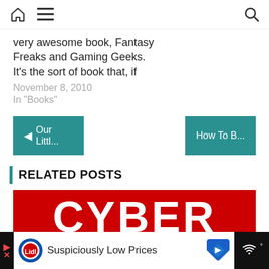Home / Menu / Search
very awesome book, Fantasy Freaks and Gaming Geeks. It's the sort of book that, if
November 8, 2010
In "Books"
◄ Our Littl...
How To B...
RELATED POSTS
[Figure (photo): Red banner image with white bold text reading CYBER]
[Figure (photo): Advertisement bar: Lidl logo, text 'Suspiciously Low Prices', blue diamond arrow icon, dark right panel with wifi icon]